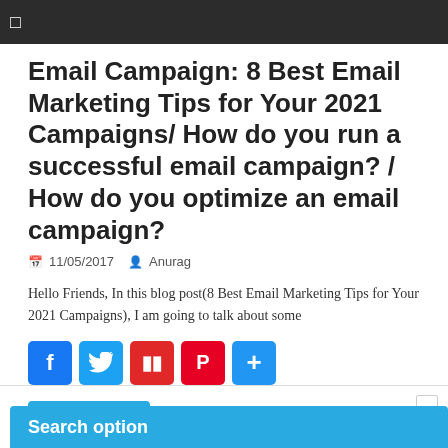☰
Email Campaign: 8 Best Email Marketing Tips for Your 2021 Campaigns/ How do you run a successful email campaign? / How do you optimize an email campaign?
📅 11/05/2017  👤 Anurag
Hello Friends, In this blog post(8 Best Email Marketing Tips for Your 2021 Campaigns), I am going to talk about some
[Figure (other): Social sharing buttons: Facebook (blue), Twitter (blue), Flipboard (red), Pinterest (red), More/Share (blue)]
Read more